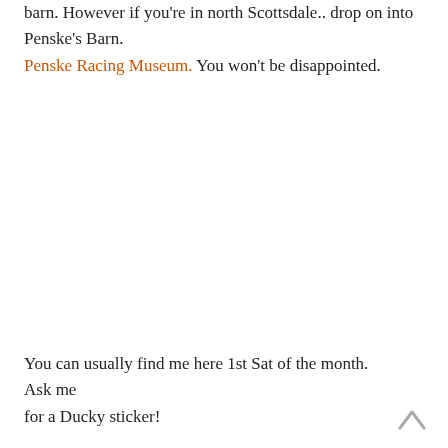barn.  However if you're in north Scottsdale.. drop on into Penske's Barn. Penske Racing Museum. You won't be disappointed.
You can usually find me here 1st Sat of the month. Ask me for a Ducky sticker!